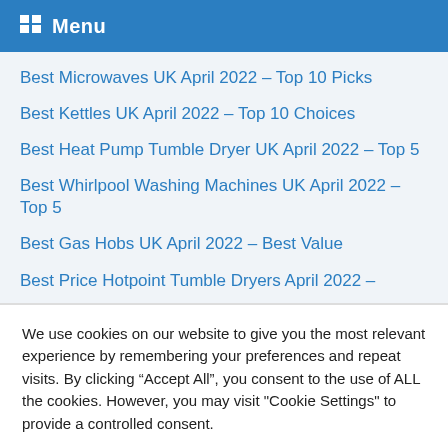Menu
Best Microwaves UK April 2022 – Top 10 Picks
Best Kettles UK April 2022 – Top 10 Choices
Best Heat Pump Tumble Dryer UK April 2022 – Top 5
Best Whirlpool Washing Machines UK April 2022 – Top 5
Best Gas Hobs UK April 2022 – Best Value
Best Price Hotpoint Tumble Dryers April 2022 –
We use cookies on our website to give you the most relevant experience by remembering your preferences and repeat visits. By clicking "Accept All", you consent to the use of ALL the cookies. However, you may visit "Cookie Settings" to provide a controlled consent.